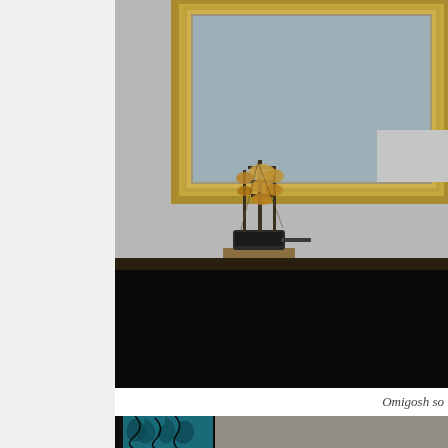[Figure (photo): A small decorative wooden sailing ship model with tan/brown rolled sails sits on a wooden base on a dark shelf or mantle. Behind it is a large ornate gold-framed mirror on a light gray wall. The lower portion of the image is very dark/black.]
Omigosh so
[Figure (photo): Partial view of a second photo showing a teal/blue decorative fabric or wallpaper with floral/vine pattern on the left, and a light-colored surface on the right, against a dark background.]